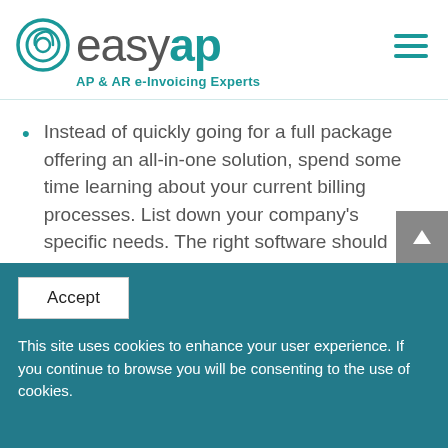[Figure (logo): easyap logo with circular e icon and teal 'AP&AR e-Invoicing Experts' tagline]
Instead of quickly going for a full package offering an all-in-one solution, spend some time learning about your current billing processes. List down your company's specific needs. The right software should easily fit your needs and processes without requiring your accounting department to drastically adjust
Accept
This site uses cookies to enhance your user experience. If you continue to browse you will be consenting to the use of cookies.